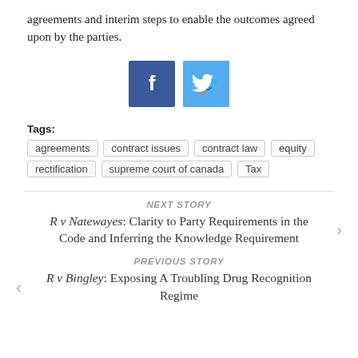agreements and interim steps to enable the outcomes agreed upon by the parties.
[Figure (other): Social media share buttons: Facebook (blue square with 'f') and Twitter (light blue square with bird icon)]
Tags: agreements  contract issues  contract law  equity  rectification  supreme court of canada  Tax
NEXT STORY
R v Natewayes: Clarity to Party Requirements in the Code and Inferring the Knowledge Requirement
PREVIOUS STORY
R v Bingley: Exposing A Troubling Drug Recognition Regime